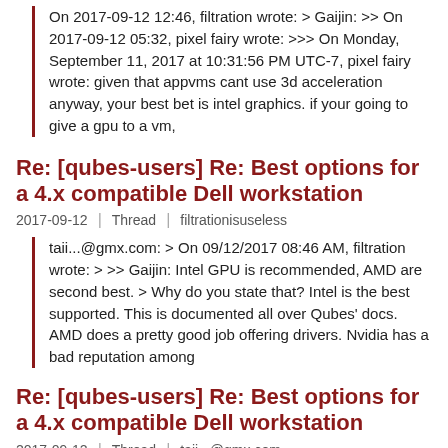On 2017-09-12 12:46, filtration wrote: > Gaijin: >> On 2017-09-12 05:32, pixel fairy wrote: >>> On Monday, September 11, 2017 at 10:31:56 PM UTC-7, pixel fairy wrote: given that appvms cant use 3d acceleration anyway, your best bet is intel graphics. if your going to give a gpu to a vm,
Re: [qubes-users] Re: Best options for a 4.x compatible Dell workstation
2017-09-12  Thread  filtrationisuseless
taii...@gmx.com: > On 09/12/2017 08:46 AM, filtration wrote: > >> Gaijin: Intel GPU is recommended, AMD are second best. > Why do you state that? Intel is the best supported. This is documented all over Qubes' docs. AMD does a pretty good job offering drivers. Nvidia has a bad reputation among
Re: [qubes-users] Re: Best options for a 4.x compatible Dell workstation
2017-09-12  Thread  taii...@gmx.com
On 09/12/2017 08:46 AM, filtration wrote: Gaijin: Intel GPU is recommended, AMD are second best. Why do you state that? -- You received this message because you are subscribed to the Google Groups "qubes-users" group. To unsubscribe from this group and stop receiving emails from